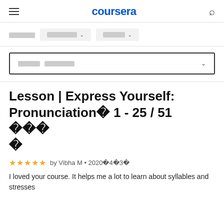coursera
□□□□□□  □□□□□□□ ∨  □□□□□ ∨
□□□□□ □□□□□□□ ∨
Lesson | Express Yourself: Pronunciation� 1 - 25 / 51 ����
★★★★★ by Vibha M • 2020�4�3�
I loved your course. It helps me a lot to learn about syllables and stresses